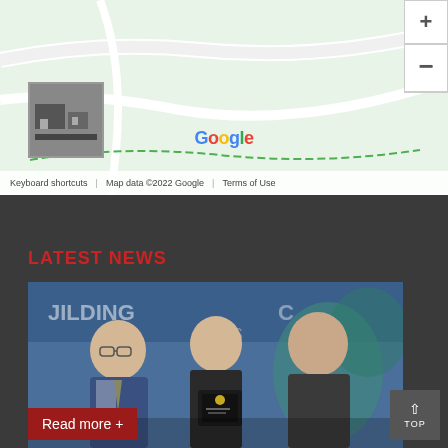[Figure (map): Google Maps embed showing a location with map thumbnail, zoom controls (+/-), Google logo, and footer with 'Keyboard shortcuts', 'Map data ©2022 Google', 'Terms of Use']
LATEST NEWS
[Figure (photo): Three men in suits standing together at an event, middle man holding a dark award plaque. Background shows event signage.]
Read more +